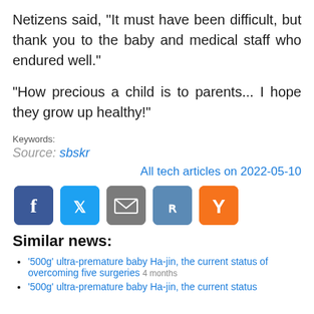Netizens said, "It must have been difficult, but thank you to the baby and medical staff who endured well."
"How precious a child is to parents... I hope they grow up healthy!"
Keywords:
Source: sbskr
All tech articles on 2022-05-10
[Figure (infographic): Social share buttons: Facebook (f), Twitter (bird), Email (envelope), Reddit (alien), Y Combinator (Y)]
Similar news:
'500g' ultra-premature baby Ha-jin, the current status of overcoming five surgeries 4 months
'500g' ultra-premature baby Ha-jin, the current status